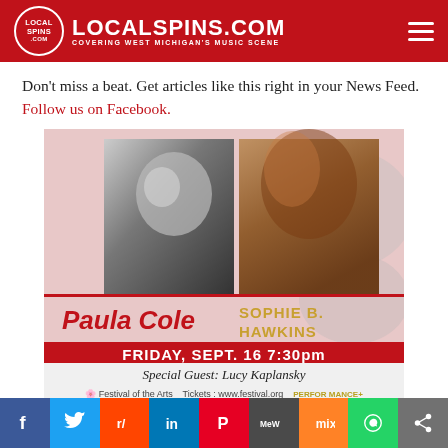LOCALSPINS.COM — COVERING WEST MICHIGAN'S MUSIC SCENE
Don't miss a beat. Get articles like this right in your News Feed. Follow us on Facebook.
[Figure (illustration): Concert promotional poster showing Paula Cole and Sophie B. Hawkins performing Friday, Sept. 16 at 7:30pm, Special Guest: Lucy Kaplansky. Tickets at www.festival.org. Presented by Festival of the Arts and Performance+.]
Social sharing bar: Facebook, Twitter, Reddit, LinkedIn, Pinterest, MeWe, Mix, WhatsApp, Share